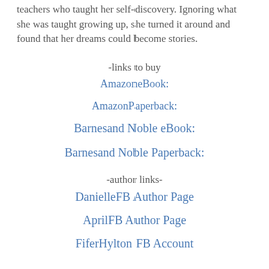teachers who taught her self-discovery. Ignoring what she was taught growing up, she turned it around and found that her dreams could become stories.
-links to buy
AmazoneBook:
AmazonPaperback:
Barnesand Noble eBook:
Barnesand Noble Paperback:
-author links-
DanielleFB Author Page
AprilFB Author Page
FiferHylton FB Account